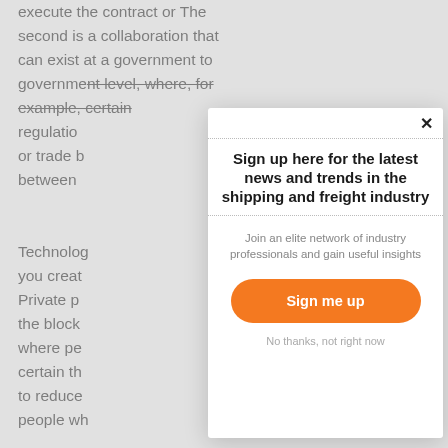execute the contract or The second is a collaboration that can exist at a government to government level, where, for example, certain regulations or trade barriers between
Technology you creat Private p the block where pe certain th to reduce people wh
[Figure (screenshot): A modal popup overlay on top of article text. The modal contains a dotted border headline section reading 'Sign up here for the latest news and trends in the shipping and freight industry', subtitle text 'Join an elite network of industry professionals and gain useful insights', an orange rounded 'Sign me up' button, and a 'No thanks, not right now' text link. A close (X) button is in the top right.]